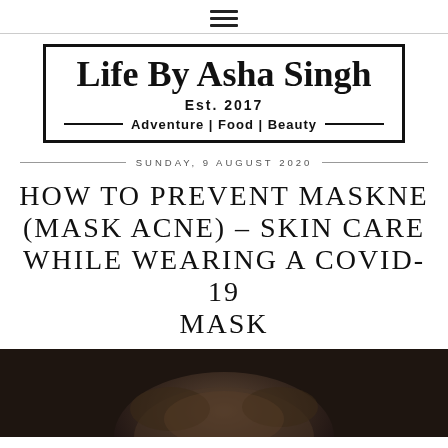☰ (hamburger menu icon)
[Figure (logo): Life By Asha Singh blog logo. Handwritten script font title 'Life By Asha Singh' inside a rectangular border, with 'Est. 2017' in bold sans-serif below, and 'Adventure | Food | Beauty' tagline with horizontal lines on either side.]
SUNDAY, 9 AUGUST 2020
HOW TO PREVENT MASKNE (MASK ACNE) – SKIN CARE WHILE WEARING A COVID-19 MASK
[Figure (photo): Bottom portion of a photo showing the top of a person's head with dark hair, against a dark background. Only the hair and top of head are visible.]